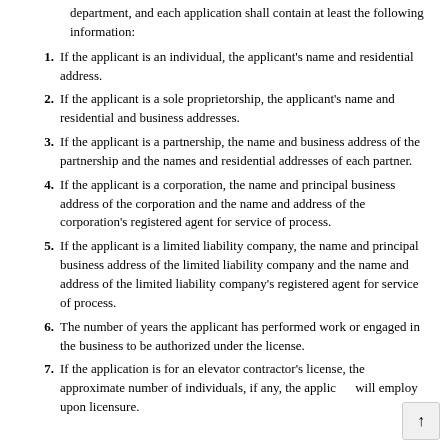department, and each application shall contain at least the following information:
1. If the applicant is an individual, the applicant's name and residential address.
2. If the applicant is a sole proprietorship, the applicant's name and residential and business addresses.
3. If the applicant is a partnership, the name and business address of the partnership and the names and residential addresses of each partner.
4. If the applicant is a corporation, the name and principal business address of the corporation and the name and address of the corporation's registered agent for service of process.
5. If the applicant is a limited liability company, the name and principal business address of the limited liability company and the name and address of the limited liability company's registered agent for service of process.
6. The number of years the applicant has performed work or engaged in the business to be authorized under the license.
7. If the application is for an elevator contractor's license, the approximate number of individuals, if any, the applicant will employ upon licensure.